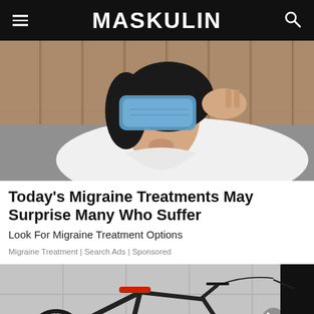MASKULIN
[Figure (photo): Person lying on a couch with a blue ice pack covering their eyes, holding their head, wearing a white t-shirt. Background shows wooden wall paneling and a grey couch.]
Today's Migraine Treatments May Surprise Many Who Suffer
Look For Migraine Treatment Options
Migraine Treatment | Search Ads | Sponsored
[Figure (photo): A sleek black mountain/racing bicycle leaning against a grey concrete tile wall. The bike has a red seat and carbon-fiber style frame. There is a black rectangle (video thumbnail area) on the right side of the image.]